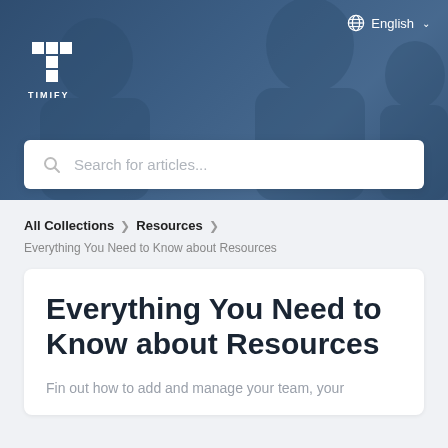[Figure (screenshot): Hero banner with blurred photo of people in a meeting, dark blue overlay, TIMIFY logo top left, English language selector top right, and a search bar for articles.]
English
All Collections  >  Resources  >
Everything You Need to Know about Resources
Everything You Need to Know about Resources
Fin out how to add and manage your team, your